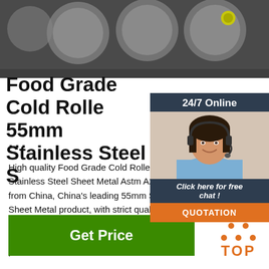[Figure (photo): Photo of stainless steel discs/rounds on a dark surface]
Food Grade Cold Rolled 316 55mm Stainless Steel Sheet Metal Astm A240
...
High quality Food Grade Cold Rolled 316 55mm Stainless Steel Sheet Metal Astm A240 T from China, China's leading 55mm Stainless Steel Sheet Metal product, with strict quality control 55mm ss316 Sheet Metal factories, producing high quality ASTM Stainless Steel Sheet Metal products.
[Figure (photo): 24/7 Online chat widget with photo of woman wearing headset, click here for free chat, QUOTATION button]
[Figure (infographic): TOP icon with orange dots forming a triangle above the word TOP in orange]
Get Price